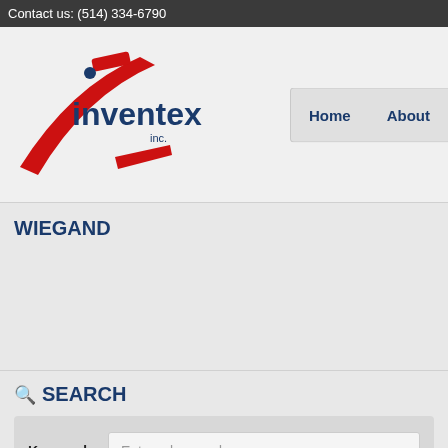Contact us: (514) 334-6790
[Figure (logo): Inventex inc. logo with red stylized 'i' and dark blue text]
Home  About
WIEGAND
SEARCH
Keyword  Enter a keyword